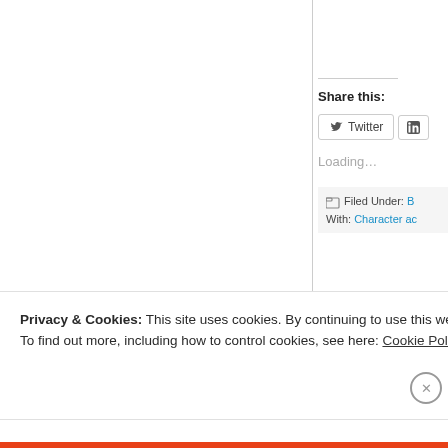Share this:
Twitter
Loading...
Filed Under: B
With: Character ac
Privacy & Cookies: This site uses cookies. By continuing to use this website, you agree to their use.
To find out more, including how to control cookies, see here: Cookie Policy
Close and accept